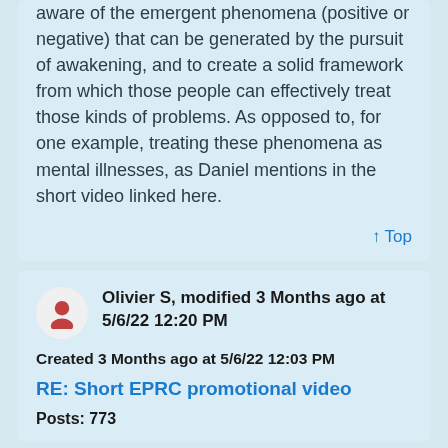aware of the emergent phenomena (positive or negative) that can be generated by the pursuit of awakening, and to create a solid framework from which those people can effectively treat those kinds of problems. As opposed to, for one example, treating these phenomena as mental illnesses, as Daniel mentions in the short video linked here.
↑ Top
Olivier S, modified 3 Months ago at 5/6/22 12:20 PM
Created 3 Months ago at 5/6/22 12:03 PM
RE: Short EPRC promotional video
Posts: 773